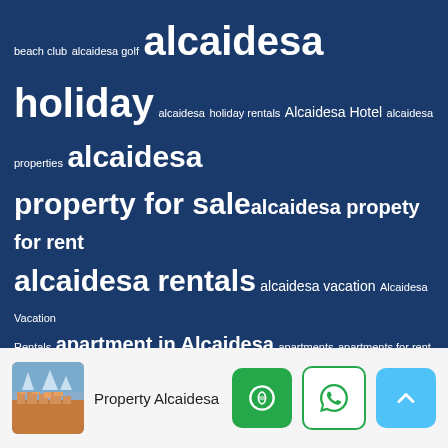[Figure (infographic): Tag cloud on dark blue background with various keywords related to Alcaidesa property rentals and holidays, shown in different font sizes indicating frequency/importance.]
Property Alcaidesa
[Figure (other): Footer bar with property image thumbnail, site title 'Property Alcaidesa', and three icon buttons (chat, WhatsApp, scroll-to-top).]